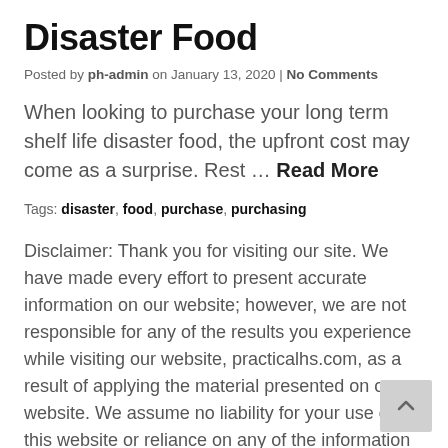Disaster Food
Posted by ph-admin on January 13, 2020 | No Comments
When looking to purchase your long term shelf life disaster food, the upfront cost may come as a surprise. Rest … Read More
Tags: disaster, food, purchase, purchasing
Disclaimer: Thank you for visiting our site. We have made every effort to present accurate information on our website; however, we are not responsible for any of the results you experience while visiting our website, practicalhs.com, as a result of applying the material presented on our website. We assume no liability for your use of this website or reliance on any of the information provided. Statements on this blog reflect